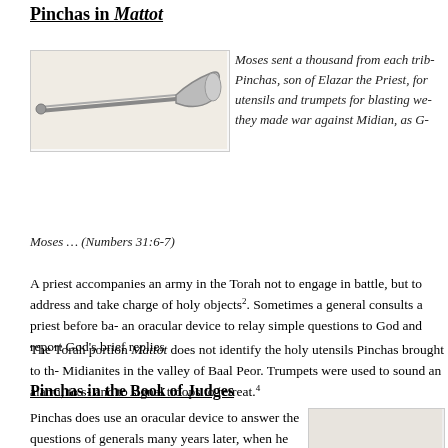Pinchas in Mattot
[Figure (photo): A long ancient trumpet (shofar/silver trumpet) with a flared bell end]
Moses sent a thousand from each tribe, Pinchas, son of Elazar the Priest, for utensils and trumpets for blasting were they made war against Midian, as G-d Moses … (Numbers 31:6-7)
A priest accompanies an army in the Torah not to engage in battle, but to address and take charge of holy objects². Sometimes a general consults a priest before ba- an oracular device to relay simple questions to God and report God's brief replies
The Torah portion Mattot does not identify the holy utensils Pinchas brought to th- Midianites in the valley of Baal Peor. Trumpets were used to sound an alarm, to s- and to signal troops to retreat.⁴
Pinchas in the Book of Judges
Pinchas does use an oracular device to answer the questions of generals many years later, when he is the high priest of the Israelites. After the tribes have conquered and settled various parts of Canaan, some men in the territory of Benjamin rape and